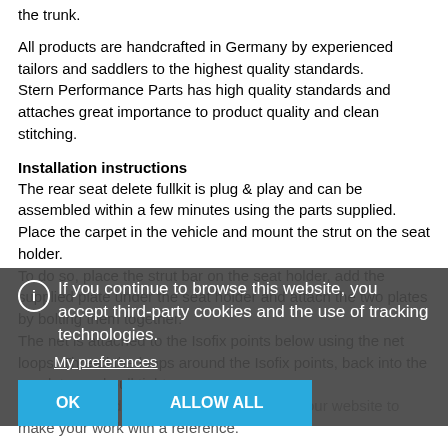the trunk.
All products are handcrafted in Germany by experienced tailors and saddlers to the highest quality standards.
Stern Performance Parts has high quality standards and attaches great importance to product quality and clean stitching.
Installation instructions
The rear seat delete fullkit is plug & play and can be assembled within a few minutes using the parts supplied.
Place the carpet in the vehicle and mount the strut on the seat holder.
To do so, place the strut bar on the seat holder, add the supplied plate under the seat holder and attach the two plates by bolting them together.
The net is attached to the Isofix points below using the net loops. Thread the loops around the Isofix points, back into the regulator and pull tight.
You will find a detailed installation video on our website to make your work with a reference.
Important: The front part of the 2mm thick boot floor needs to be cut off to fit the carpet.
Customization
The strut bar is available in aluminum and for an upcharge made of carbon. You can choose the color of the aluminum strut and on can also choose any other RAL-color. Please note that we only powder coat RAL-colors.
If you continue to browse this website, you accept third-party cookies and the use of tracking technologies.
My preferences
OK   ALLOW ALL